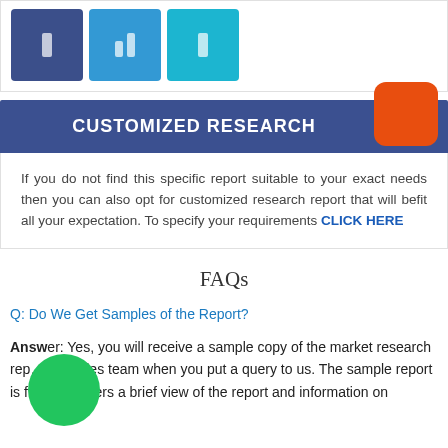[Figure (illustration): Three colored icon boxes (dark blue, medium blue, light blue) each containing a bar chart icon]
CUSTOMIZED RESEARCH
If you do not find this specific report suitable to your exact needs then you can also opt for customized research report that will befit all your expectation. To specify your requirements CLICK HERE
FAQs
Q: Do We Get Samples of the Report?
Answer: Yes, you will receive a sample copy of the market research report from the sales team when you put a query to us. The sample report is free and offers a brief view of the report and information on